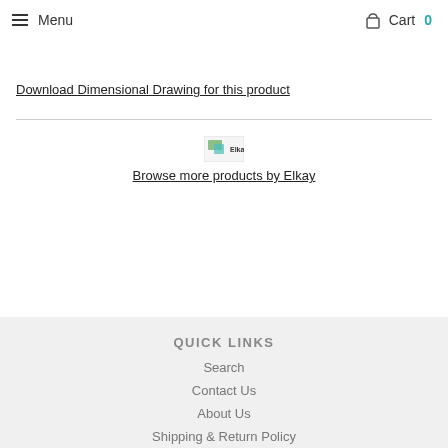Menu  Cart 0
Download Dimensional Drawing for this product
[Figure (logo): Elkay brand logo image]
Browse more products by Elkay
QUICK LINKS
Search
Contact Us
About Us
Shipping & Return Policy